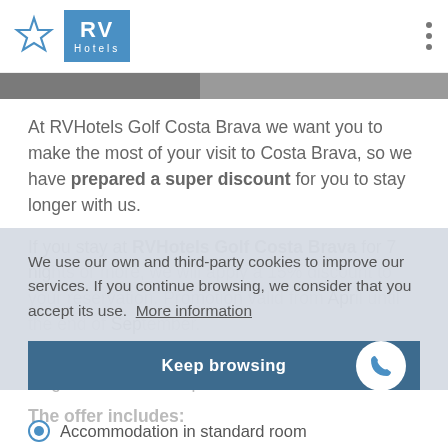RV Hotels logo
At RVHotels Golf Costa Brava we want you to make the most of your visit to Costa Brava, so we have prepared a super discount for you to stay longer with us.
If you stay at RVHotels Golf Costa Brava for 7 nights or more, we will apply a 15% discount to your reservation. Promotion valid from April until the end of September.
Easy not to miss out on this opportunity and stay longer with us from April.
The offer includes:
We use our own and third-party cookies to improve our services. If you continue browsing, we consider that you accept its use. More information
Keep browsing
Accommodation in standard room